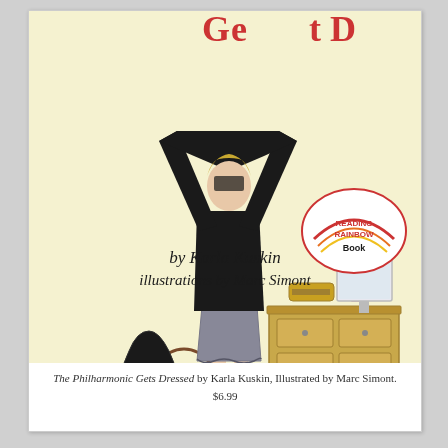[Figure (illustration): Book cover of 'The Philharmonic Gets Dressed' showing a woman pulling a black sweater over her head, standing in front of a dresser with toiletries; a chair and guitar case visible beside her. Text reads 'by Karla Kuskin, illustrations by Marc Simont'. A Reading Rainbow Book badge is in the bottom right.]
The Philharmonic Gets Dressed by Karla Kuskin, Illustrated by Marc Simont. $6.99